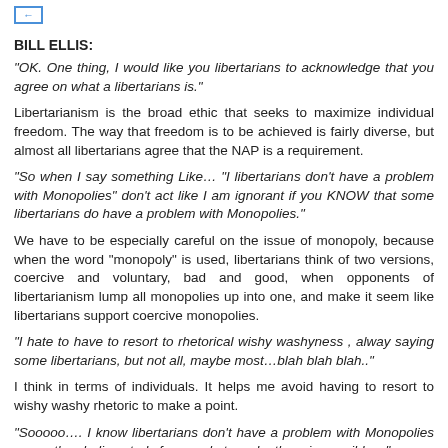BILL ELLIS:
"OK. One thing, I would like you libertarians to acknowledge that you agree on what a libertarians is."
Libertarianism is the broad ethic that seeks to maximize individual freedom. The way that freedom is to be achieved is fairly diverse, but almost all libertarians agree that the NAP is a requirement.
"So when I say something Like… "I libertarians don't have a problem with Monopolies" don't act like I am ignorant if you KNOW that some libertarians do have a problem with Monopolies."
We have to be especially careful on the issue of monopoly, because when the word "monopoly" is used, libertarians think of two versions, coercive and voluntary, bad and good, when opponents of libertarianism lump all monopolies up into one, and make it seem like libertarians support coercive monopolies.
"I hate to have to resort to rhetorical wishy washyness , alway saying some libertarians, but not all, maybe most…blah blah blah.."
I think in terms of individuals. It helps me avoid having to resort to wishy washy rhetoric to make a point.
"Sooooo…. I know libertarians don't have a problem with Monopolies cause they believe truly free markets make them impossible…"
Actually no. They believe coercive monopolies are impossible. Voluntary monopolies however are sometimes viewed as not capable of lasting…